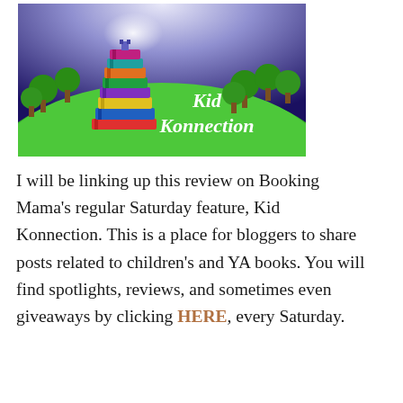[Figure (illustration): Kid Konnection banner image: colorful stack of books on a green hill with trees and a purple sky. White italic text reads 'Kid Konnection'.]
I will be linking up this review on Booking Mama's regular Saturday feature, Kid Konnection. This is a place for bloggers to share posts related to children's and YA books. You will find spotlights, reviews, and sometimes even giveaways by clicking HERE, every Saturday.